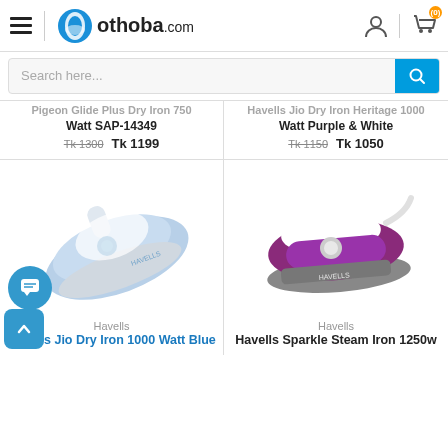othoba.com
Search here...
Pigeon Glide Plus Dry Iron 750 Watt SAP-14349 Tk 1300 Tk 1199
Havells Jio Dry Iron Heritage 1000 Watt Purple & White Tk 1150 Tk 1050
[Figure (photo): Blue and white Havells Jio dry iron]
Havells
Havells Jio Dry Iron 1000 Watt Blue
[Figure (photo): Purple and white Havells Sparkle steam iron]
Havells
Havells Sparkle Steam Iron 1250w